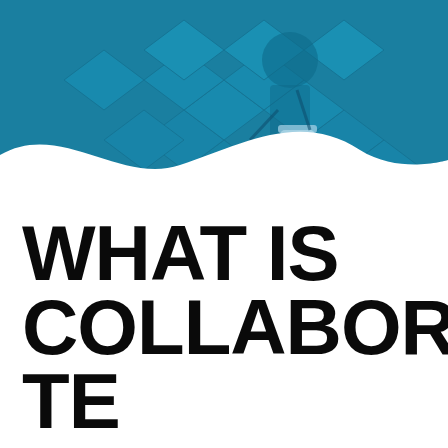[Figure (photo): A blue-tinted photo of a person using a floor cleaning machine on a tiled floor with diamond pattern. The image is overlaid with a teal/blue color wash. A white wave-shaped mask cuts across the bottom of the image.]
WHAT IS COLLABORATE